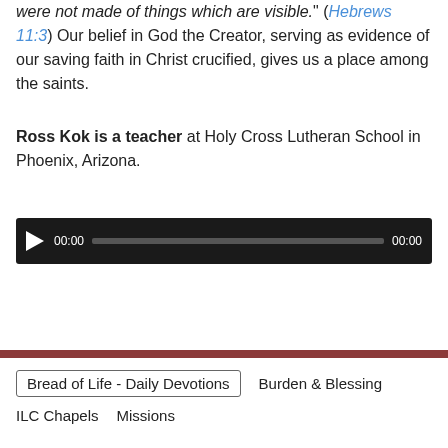were not made of things which are visible." (Hebrews 11:3) Our belief in God the Creator, serving as evidence of our saving faith in Christ crucified, gives us a place among the saints.
Ross Kok is a teacher at Holy Cross Lutheran School in Phoenix, Arizona.
[Figure (other): Audio player widget with dark background, play button, time display showing 00:00, progress bar, and end time 00:00]
Bread of Life - Daily Devotions  Burden & Blessing  ILC Chapels  Missions